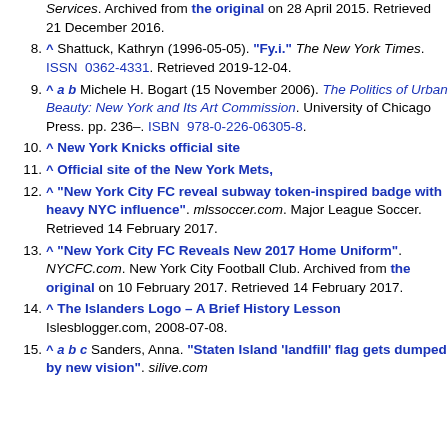Services. Archived from the original on 28 April 2015. Retrieved 21 December 2016.
8. ^ Shattuck, Kathryn (1996-05-05). "Fy.i." The New York Times. ISSN 0362-4331. Retrieved 2019-12-04.
9. ^ a b Michele H. Bogart (15 November 2006). The Politics of Urban Beauty: New York and Its Art Commission. University of Chicago Press. pp. 236–. ISBN 978-0-226-06305-8.
10. ^ New York Knicks official site
11. ^ Official site of the New York Mets,
12. ^ "New York City FC reveal subway token-inspired badge with heavy NYC influence". mlssoccer.com. Major League Soccer. Retrieved 14 February 2017.
13. ^ "New York City FC Reveals New 2017 Home Uniform". NYCFC.com. New York City Football Club. Archived from the original on 10 February 2017. Retrieved 14 February 2017.
14. ^ The Islanders Logo – A Brief History Lesson Islesblogger.com, 2008-07-08.
15. ^ a b c Sanders, Anna. "Staten Island 'landfill' flag gets dumped by new vision". silive.com